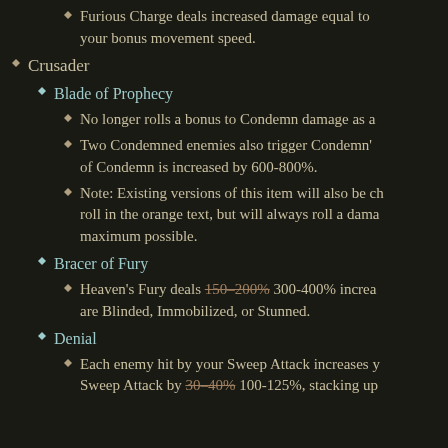Furious Charge deals increased damage equal to your bonus movement speed.
Crusader
Blade of Prophecy
No longer rolls a bonus to Condemn damage as a
Two Condemned enemies also trigger Condemn's of Condemn is increased by 600-800%.
Note: Existing versions of this item will also be ch roll in the orange text, but will always roll a dama maximum possible.
Bracer of Fury
Heaven's Fury deals 150-200% 300-400% increa are Blinded, Immobilized, or Stunned.
Denial
Each enemy hit by your Sweep Attack increases Sweep Attack by 30-40% 100-125%, stacking up